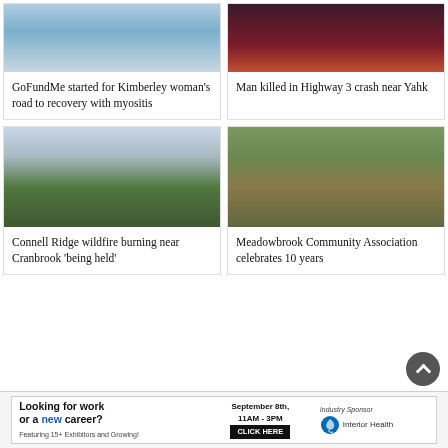[Figure (photo): Medical equipment photo for GoFundMe article]
GoFundMe started for Kimberley woman’s road to recovery with myositis
[Figure (photo): Dark highway crash scene photo]
Man killed in Highway 3 crash near Yahk
[Figure (photo): Wildfire smoke rising over Cranbrook landscape]
Connell Ridge wildfire burning near Cranbrook ‘being held’
[Figure (photo): People playing guitars outdoors among trees at Meadowbrook Community event]
Meadowbrook Community Association celebrates 10 years
[Figure (other): Advertisement: Looking for work or a new career? September 8th, 11AM-3PM. Featuring 15+ Exhibitors and Growing! Industry Sponsor: Interior Health]